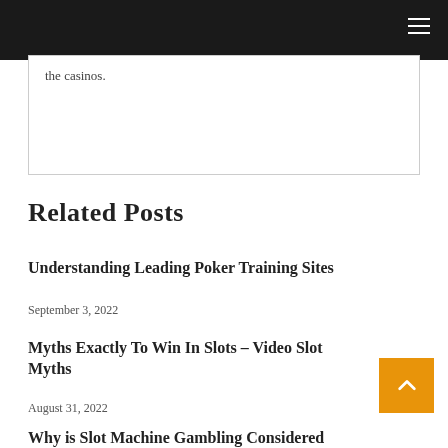the casinos.
Related Posts
Understanding Leading Poker Training Sites
September 3, 2022
Myths Exactly To Win In Slots – Video Slot Myths
August 31, 2022
Why is Slot Machine Gambling Considered